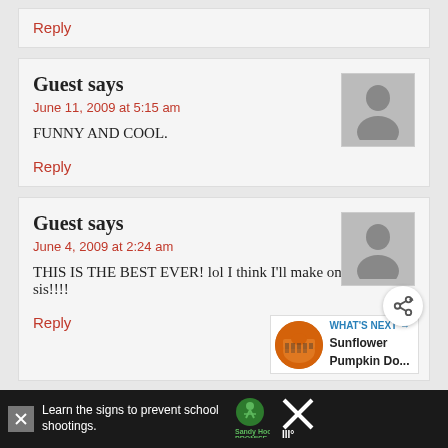Reply
Guest says
June 11, 2009 at 5:15 am
FUNNY AND COOL.
Reply
Guest says
June 4, 2009 at 2:24 am
THIS IS THE BEST EVER! lol I think I'll make one for my sis!!!!
Reply
G...
Learn the signs to prevent school shootings.